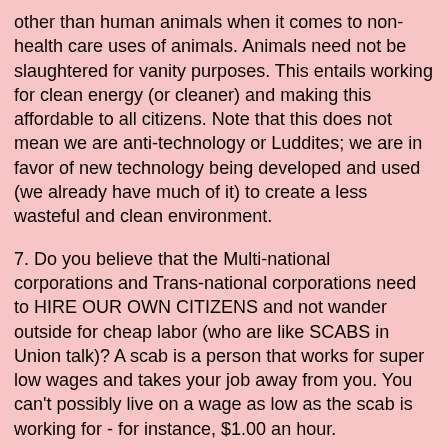other than human animals when it comes to non-health care uses of animals. Animals need not be slaughtered for vanity purposes. This entails working for clean energy (or cleaner) and making this affordable to all citizens. Note that this does not mean we are anti-technology or Luddites; we are in favor of new technology being developed and used (we already have much of it) to create a less wasteful and clean environment.
7. Do you believe that the Multi-national corporations and Trans-national corporations need to HIRE OUR OWN CITIZENS and not wander outside for cheap labor (who are like SCABS in Union talk)? A scab is a person that works for super low wages and takes your job away from you. You can't possibly live on a wage as low as the scab is working for - for instance, $1.00 an hour.
8. Do you believe in cutting the military budget and putting more of our own tax dollars to the service of the people? This incorporates the idea that we need not fear foreign invasion if people own guns! This includes the idea that we don't need to waste tax payer's money on being the "police of the world" or trying to solve the problems of other sovereign nations. The military budget need not be used to make MORE nuclear weapons, it could be used to enhance